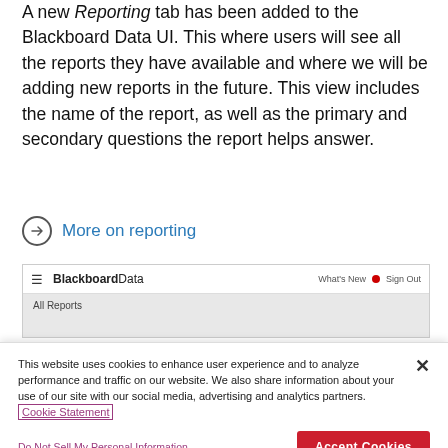A new Reporting tab has been added to the Blackboard Data UI. This where users will see all the reports they have available and where we will be adding new reports in the future. This view includes the name of the report, as well as the primary and secondary questions the report helps answer.
→ More on reporting
[Figure (screenshot): Screenshot of Blackboard Data UI showing navigation bar with hamburger menu, BlackboardData logo, What's New link with red notification dot, Sign Out link, and All Reports section header below.]
This website uses cookies to enhance user experience and to analyze performance and traffic on our website. We also share information about your use of our site with our social media, advertising and analytics partners. Cookie Statement
Do Not Sell My Personal Information
Accept Cookies